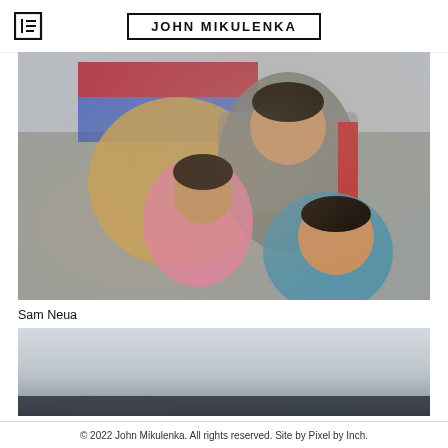JOHN MIKULENKA
[Figure (photo): A man sits behind two young children (a girl in pink and a boy in blue) in front of a large painted mural and golden sculptural relief depicting soldiers and figures. The man wears a grey and red tracksuit jacket.]
Sam Neua
[Figure (photo): A landscape photograph showing a hazy, overcast sky over a dark lower horizon, partially cut off at the bottom of the page.]
© 2022 John Mikulenka. All rights reserved. Site by Pixel by Inch.